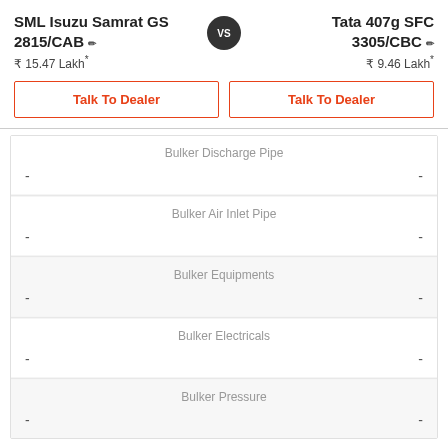SML Isuzu Samrat GS 2815/CAB
Tata 407g SFC 3305/CBC
₹ 15.47 Lakh*
₹ 9.46 Lakh*
Talk To Dealer
Talk To Dealer
| SML Isuzu Samrat GS 2815/CAB | Feature | Tata 407g SFC 3305/CBC |
| --- | --- | --- |
| - | Bulker Discharge Pipe | - |
| - | Bulker Air Inlet Pipe | - |
| - | Bulker Equipments | - |
| - | Bulker Electricals | - |
| - | Bulker Pressure | - |